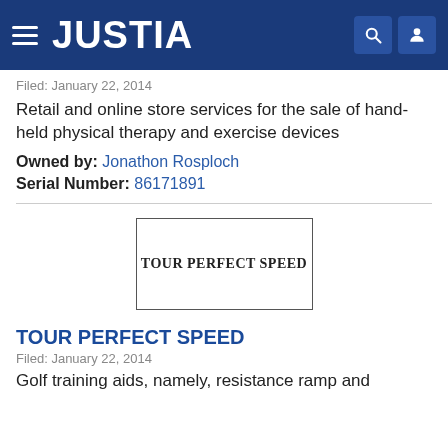JUSTIA
Filed: January 22, 2014
Retail and online store services for the sale of hand-held physical therapy and exercise devices
Owned by: Jonathon Rosploch
Serial Number: 86171891
[Figure (other): Trademark image box containing the text TOUR PERFECT SPEED in bold serif font, enclosed in a rectangular border]
TOUR PERFECT SPEED
Filed: January 22, 2014
Golf training aids, namely, resistance ramp and